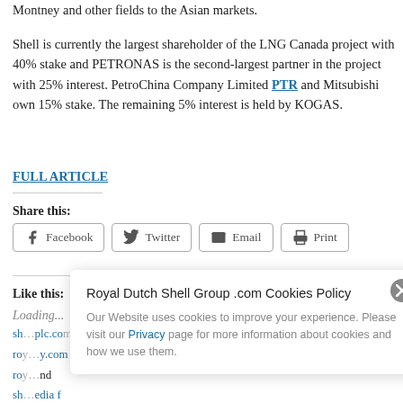Montney and other fields to the Asian markets.
Shell is currently the largest shareholder of the LNG Canada project with 40% stake and PETRONAS is the second-largest partner in the project with 25% interest. PetroChina Company Limited PTR and Mitsubishi own 15% stake. The remaining 5% interest is held by KOGAS.
FULL ARTICLE
Share this:
Facebook Twitter Email Print
Like this:
Loading...
[Figure (screenshot): Cookie consent popup overlay for Royal Dutch Shell Group .com reading: 'Our Website uses cookies to improve your experience. Please visit our Privacy page for more information about cookies and how we use them.']
sh...plc.com roy...y.com roy...nd sh...edia f